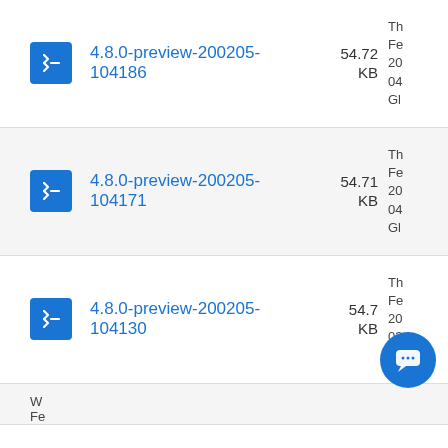4.8.0-preview-200205-104186  54.72 KB
4.8.0-preview-200205-104171  54.71 KB
4.8.0-preview-200205-104130  54.7 KB